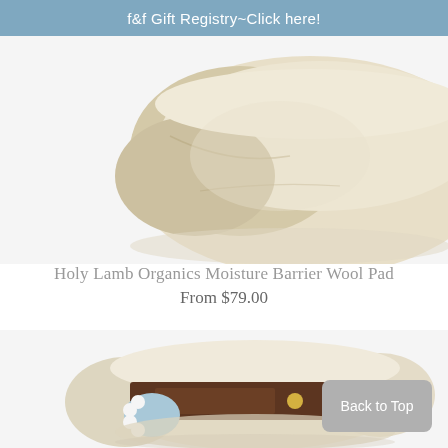f&f Gift Registry~Click here!
[Figure (photo): Folded cream/tan wool blanket or mattress pad photographed on a white background, showing the top portion of the product.]
Holy Lamb Organics Moisture Barrier Wool Pad
From $79.00
[Figure (photo): Packaged Holy Lamb Organics Moisture Barrier Wool Pad, folded in cream fabric with a brown and light blue label band around it, on white background.]
Back to Top